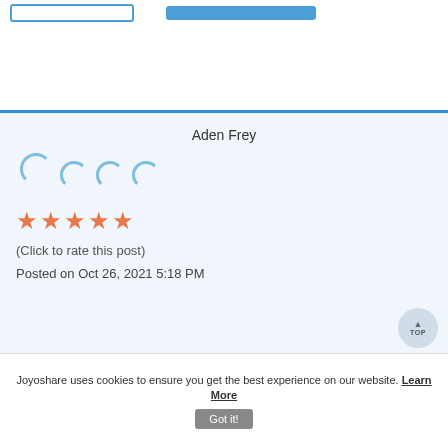[Figure (screenshot): Two UI buttons at top: an outlined rectangular button and a filled blue rectangular button]
Aden Frey
[Figure (other): Four loading spinner icons arranged in a row]
[Figure (other): Five orange/red star rating icons]
(Click to rate this post)
Posted on Oct 26, 2021 5:18 PM
Joyoshare uses cookies to ensure you get the best experience on our website. Learn More Got it!